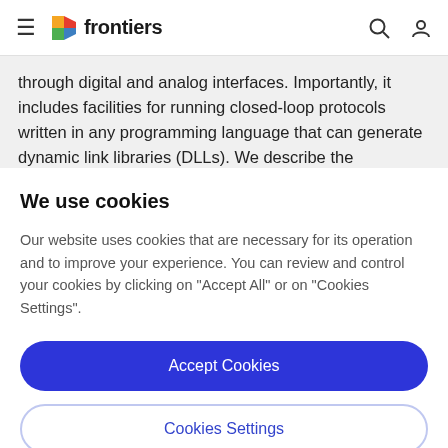frontiers
through digital and analog interfaces. Importantly, it includes facilities for running closed-loop protocols written in any programming language that can generate dynamic link libraries (DLLs). We describe the
We use cookies
Our website uses cookies that are necessary for its operation and to improve your experience. You can review and control your cookies by clicking on "Accept All" or on "Cookies Settings".
Accept Cookies
Cookies Settings